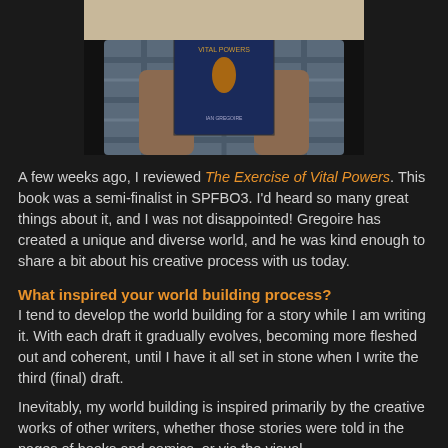[Figure (photo): Person holding up a book titled 'Exercise of Vital Powers' covering their face, wearing a plaid shirt]
A few weeks ago, I reviewed The Exercise of Vital Powers. This book was a semi-finalist in SPFBO3. I'd heard so many great things about it, and I was not disappointed! Gregoire has created a unique and diverse world, and he was kind enough to share a bit about his creative process with us today.
What inspired your world building process?
I tend to develop the world building for a story while I am writing it. With each draft it gradually evolves, becoming more fleshed out and coherent, until I have it all set in stone when I write the third (final) draft.
Inevitably, my world building is inspired primarily by the creative works of other writers, whether those stories were told in the pages of books and comics, or via the visual medium of films and television, and video games.